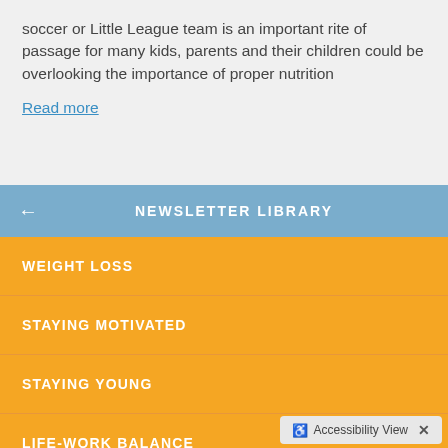soccer or Little League team is an important rite of passage for many kids, parents and their children could be overlooking the importance of proper nutrition
Read more
NEWSLETTER LIBRARY
WEIGHT LOSS
STAYING MOTIVATED
STAYING YOUNG
LIFE-WORK BALANCE
STRESS & ANXIETY
MIND-BODY CONNECTION